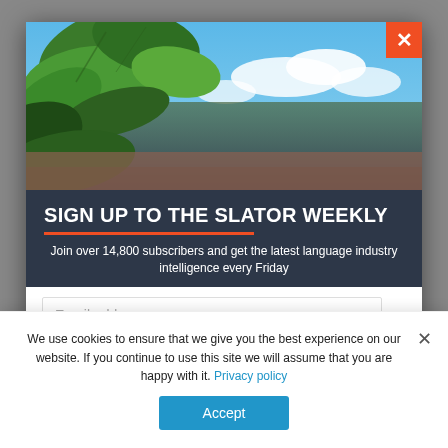[Figure (photo): Tropical nature scene with large green leaves in foreground and blue sky with white clouds in background, forming the top section of a newsletter signup modal]
SIGN UP TO THE SLATOR WEEKLY
Join over 14,800 subscribers and get the latest language industry intelligence every Friday
Email address
We use cookies to ensure that we give you the best experience on our website. If you continue to use this site we will assume that you are happy with it. Privacy policy
Accept